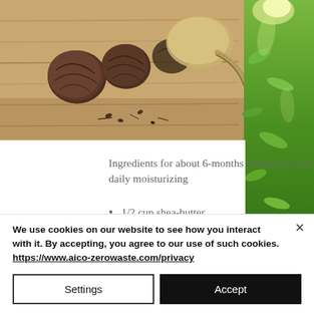[Figure (photo): Top image showing dried shea nuts/seeds on a wooden surface with a scoop, alongside a right-side strip showing green tropical foliage in sunlight.]
Ingredients for about 6-months worth of twice-daily moisturizing
1/2 cup shea-butter
2 tablespoons extra-virgin organic coconut oil
2 tablespoons organic extra virgin
We use cookies on our website to see how you interact with it. By accepting, you agree to our use of such cookies. https://www.aico-zerowaste.com/privacy